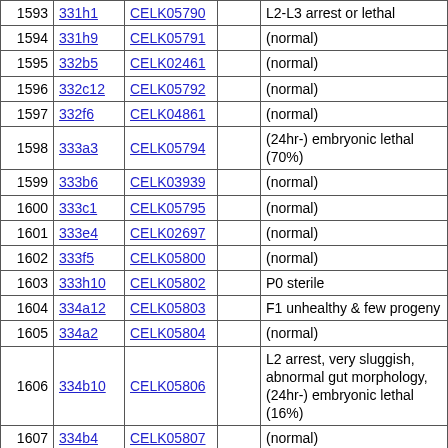| 1593 | 331h1 | CELK05790 |  | L2-L3 arrest or lethal |
| 1594 | 331h9 | CELK05791 |  | (normal) |
| 1595 | 332b5 | CELK02461 |  | (normal) |
| 1596 | 332c12 | CELK05792 |  | (normal) |
| 1597 | 332f6 | CELK04861 |  | (normal) |
| 1598 | 333a3 | CELK05794 |  | (24hr-) embryonic lethal (70%) |
| 1599 | 333b6 | CELK03939 |  | (normal) |
| 1600 | 333c1 | CELK05795 |  | (normal) |
| 1601 | 333e4 | CELK02697 |  | (normal) |
| 1602 | 333f5 | CELK05800 |  | (normal) |
| 1603 | 333h10 | CELK05802 |  | P0 sterile |
| 1604 | 334a12 | CELK05803 |  | F1 unhealthy & few progeny |
| 1605 | 334a2 | CELK05804 |  | (normal) |
| 1606 | 334b10 | CELK05806 |  | L2 arrest, very sluggish, abnormal gut morphology, (24hr-) embryonic lethal (16%) |
| 1607 | 334b4 | CELK05807 |  | (normal) |
| 1608 | 334c12 | CELK02922 |  | (normal) |